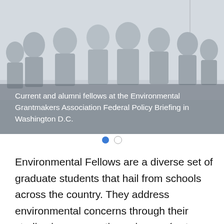[Figure (photo): Group photo of current and alumni Environmental Fellows at the Environmental Grantmakers Association Federal Policy Briefing in Washington D.C. The image has a muted, faded tone showing a group of people standing together indoors.]
Current and alumni fellows at the Environmental Grantmakers Association Federal Policy Briefing in Washington D.C.
Environmental Fellows are a diverse set of graduate students that hail from schools across the country. They address environmental concerns through their studies in conservation sciences (water, energy, forestry, and marine biology), public health, planning and policy,